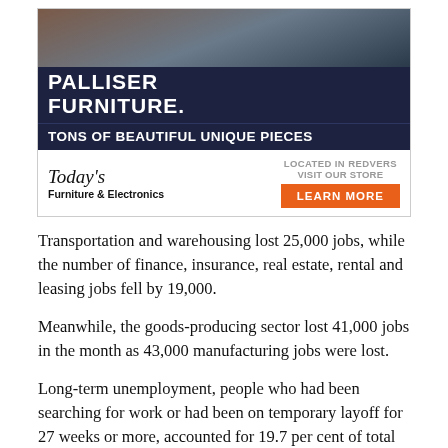[Figure (other): Advertisement for Today's Furniture & Electronics featuring Palliser Furniture. Dark navy background with white bold text 'PALLISER FURNITURE.' and 'TONS OF BEAUTIFUL UNIQUE PIECES'. Bottom section shows store logo 'Today's Furniture & Electronics', 'LOCATED IN REDVERS VISIT OUR STORE' and an orange 'LEARN MORE' button.]
Transportation and warehousing lost 25,000 jobs, while the number of finance, insurance, real estate, rental and leasing jobs fell by 19,000.
Meanwhile, the goods-producing sector lost 41,000 jobs in the month as 43,000 manufacturing jobs were lost.
Long-term unemployment, people who had been searching for work or had been on temporary layoff for 27 weeks or more, accounted for 19.7 per cent of total unemployment in May compared with 15.6 per cent in February 2020.
This report by The Canadian Press was first published June